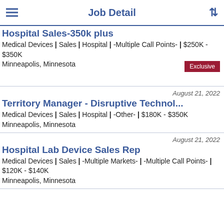Job Detail
Hospital Sales-350k plus
Medical Devices | Sales | Hospital | -Multiple Call Points- | $250K - $350K
Minneapolis, Minnesota
Exclusive
August 21, 2022
Territory Manager - Disruptive Technol...
Medical Devices | Sales | Hospital | -Other- | $180K - $350K
Minneapolis, Minnesota
August 21, 2022
Hospital Lab Device Sales Rep
Medical Devices | Sales | -Multiple Markets- | -Multiple Call Points- | $120K - $140K
Minneapolis, Minnesota